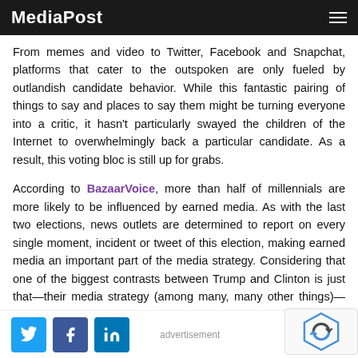MediaPost
From memes and video to Twitter, Facebook and Snapchat, platforms that cater to the outspoken are only fueled by outlandish candidate behavior. While this fantastic pairing of things to say and places to say them might be turning everyone into a critic, it hasn't particularly swayed the children of the Internet to overwhelmingly back a particular candidate. As a result, this voting bloc is still up for grabs.
According to BazaarVoice, more than half of millennials are more likely to be influenced by earned media. As with the last two elections, news outlets are determined to report on every single moment, incident or tweet of this election, making earned media an important part of the media strategy. Considering that one of the biggest contrasts between Trump and Clinton is just that—their media strategy (among many, many other things)—earned media could play a pivotal role in that final ballot.